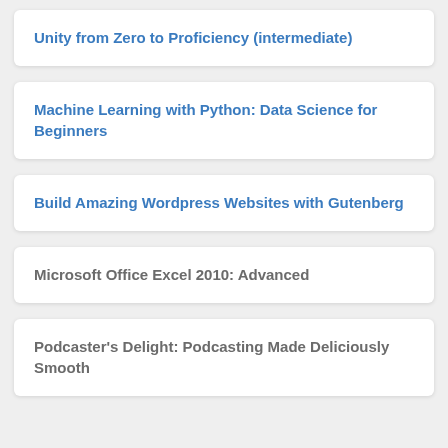Unity from Zero to Proficiency (intermediate)
Machine Learning with Python: Data Science for Beginners
Build Amazing Wordpress Websites with Gutenberg
Microsoft Office Excel 2010: Advanced
Podcaster's Delight: Podcasting Made Deliciously Smooth